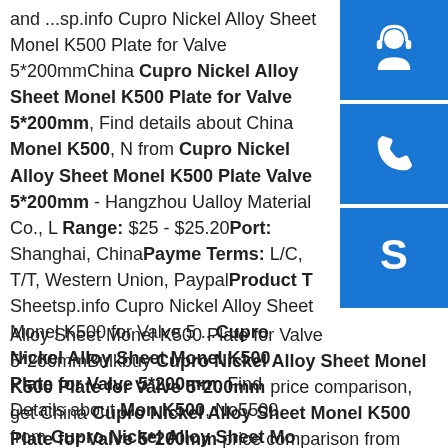and ...sp.info Cupro Nickel Alloy Sheet Monel K500 Plate for Valve 5*200mmChina Cupro Nickel Alloy Sheet Monel K500 Plate for Valve 5*200mm, Find details about China Monel K500, N from Cupro Nickel Alloy Sheet Monel K500 Plate Valve 5*200mm - Hangzhou Ualloy Material Co., L Range: $25 - $25.20Port: Shanghai, ChinaPayme Terms: L/C, T/T, Western Union, PaypalProduct T Sheetsp.info Cupro Nickel Alloy Sheet Monel K500 for Valve 5 ...Cupro Nickel Alloy Sheet Monel K500 Plate for Valve 5*200mm, Find Details about Mon K500, No5500 from Cupro Nickel Alloy Sheet Mo K500 Plate for Valve 5*200mm - ...sp.info Cupro Nickel Alloy Sheet Monel K500 Plate for Valve 5*200mmBulkbuy Cupro Nickel Alloy Sheet Monel K500 Plate for Valve 5*200mm price comparison, get China Cupro Nickel Alloy Sheet Monel K500 Plate for Valve 5*200mm price comparison from Monel K500, No5500 manufacturers & suppliers on Video Channel of Made-in-China.com .
[Figure (illustration): Blue sidebar buttons: customer service icon (headset), phone icon, and Skype icon]